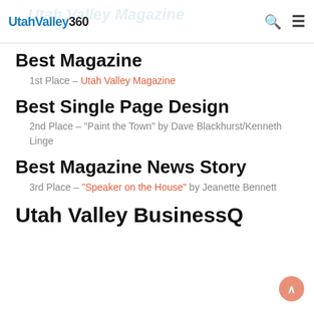UtahValley360 Utah Valley Magazine
Best Magazine
1st Place – Utah Valley Magazine
Best Single Page Design
2nd Place – "Paint the Town" by Dave Blackhurst/Kenneth Linge
Best Magazine News Story
3rd Place – "Speaker on the House" by Jeanette Bennett
Utah Valley BusinessQ